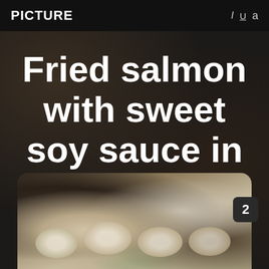PICTURE
Fried salmon with sweet soy sauce in a Korean restaurant
[Figure (photo): Korean restaurant food spread with multiple white bowls containing various dishes including fried salmon with sweet soy sauce, shot from above with blurred bokeh background]